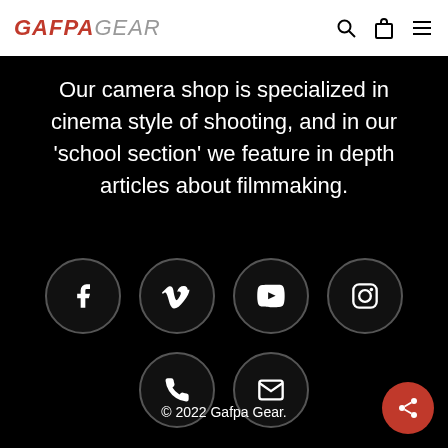GAFPA GEAR
Our camera shop is specialized in cinema style of shooting, and in our ‘school section’ we feature in depth articles about filmmaking.
[Figure (other): Social media icons in dark circles: Facebook, Vimeo, YouTube, Instagram, Phone, Email]
© 2022 Gafpa Gear.